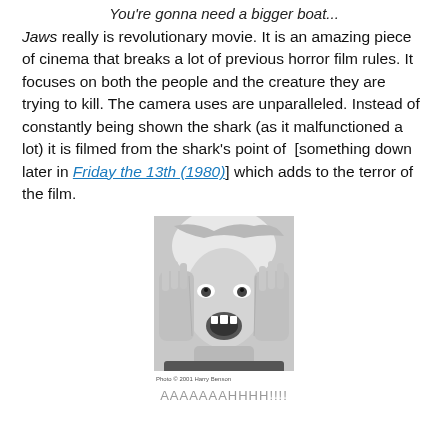You're gonna need a bigger boat...
Jaws really is revolutionary movie. It is an amazing piece of cinema that breaks a lot of previous horror film rules. It focuses on both the people and the creature they are trying to kill. The camera uses are unparalleled. Instead of constantly being shown the shark (as it malfunctioned a lot) it is filmed from the shark's point of  [something down later in Friday the 13th (1980)] which adds to the terror of the film.
[Figure (photo): Black and white photo of a person screaming with hands pressed against their face, appearing horrified. Photo credit: 2001 Harry Benson]
AAAAAAAHHHH!!!!